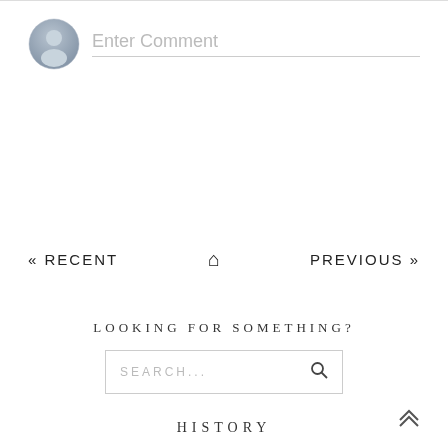[Figure (illustration): User avatar circle icon (gray silhouette on blue-gray gradient circle) next to an 'Enter Comment' placeholder input field with a bottom border line.]
Enter Comment
« RECENT
[Figure (illustration): Home icon (house symbol) for navigation]
PREVIOUS »
LOOKING FOR SOMETHING?
SEARCH...
HISTORY